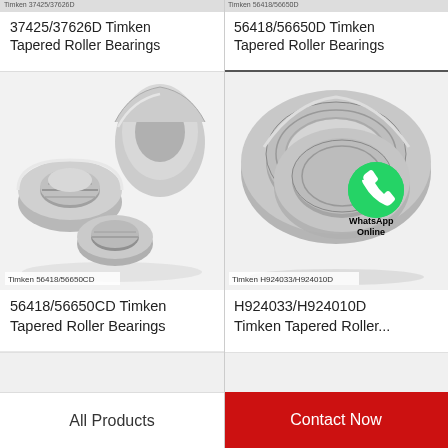37425/37626D Timken Tapered Roller Bearings
56418/56650D Timken Tapered Roller Bearings
[Figure (photo): Timken 56418/56650CD tapered roller bearing components on white background]
[Figure (photo): Timken H924033/H924010D tapered roller bearing with WhatsApp Online overlay]
Timken 56418/56650CD
Timken H924033/H924010D
56418/56650CD Timken Tapered Roller Bearings
H924033/H924010D Timken Tapered Roller...
All Products
Contact Now